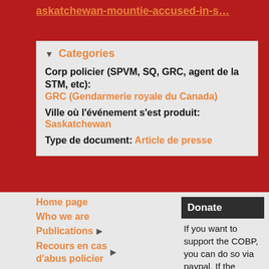askatchewan-mountie-accused-in-s…
Categories
Corp policier (SPVM, SQ, GRC, agent de la STM, etc):
GRC (Gendarmerie royale du Canada)
Ville où l'événement s'est produit:
Saskatchewan
Type de document: Article de presse
Home page
Who we are
Publications
Recours en cas d'abus policier
Copwatch
Events
Donate
If you want to support the COBP, you can do so via paypal. If the money is to address a particular legal defense fund thank you to indicate which one (eg